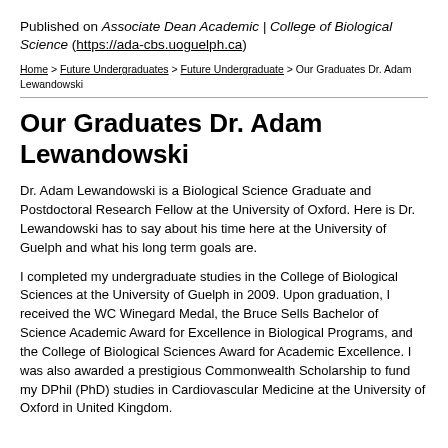Published on Associate Dean Academic | College of Biological Science (https://ada-cbs.uoguelph.ca)
Home > Future Undergraduates > Future Undergraduate > Our Graduates Dr. Adam Lewandowski
Our Graduates Dr. Adam Lewandowski
Dr. Adam Lewandowski is a Biological Science Graduate and Postdoctoral Research Fellow at the University of Oxford. Here is Dr. Lewandowski has to say about his time here at the University of Guelph and what his long term goals are.
I completed my undergraduate studies in the College of Biological Sciences at the University of Guelph in 2009. Upon graduation, I received the WC Winegard Medal, the Bruce Sells Bachelor of Science Academic Award for Excellence in Biological Programs, and the College of Biological Sciences Award for Academic Excellence. I was also awarded a prestigious Commonwealth Scholarship to fund my DPhil (PhD) studies in Cardiovascular Medicine at the University of Oxford in United Kingdom.